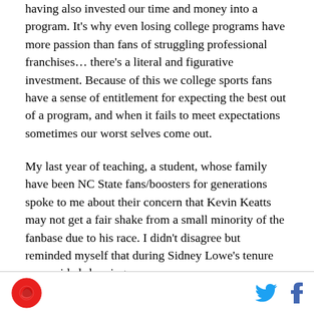having also invested our time and money into a program. It's why even losing college programs have more passion than fans of struggling professional franchises… there's a literal and figurative investment. Because of this we college sports fans have a sense of entitlement for expecting the best out of a program, and when it fails to meet expectations sometimes our worst selves come out.
My last year of teaching, a student, whose family have been NC State fans/boosters for generations spoke to me about their concern that Kevin Keatts may not get a fair shake from a small minority of the fanbase due to his race. I didn't disagree but reminded myself that during Sidney Lowe's tenure we avoided showing our
[logo] [twitter] [facebook]